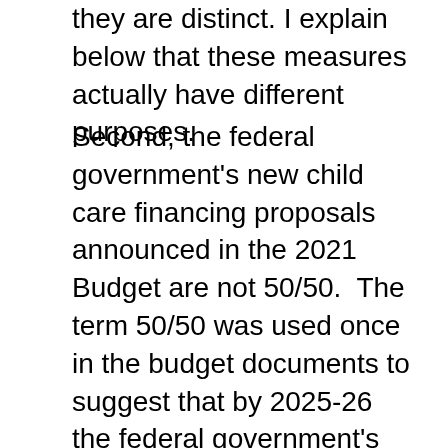they are distinct. I explain below that these measures actually have different purposes.
Second, the federal government's new child care financing proposals announced in the 2021 Budget are not 50/50.  The term 50/50 was used once in the budget documents to suggest that by 2025-26 the federal government's financial contribution to early learning and child care would have risen to equal the current expenditures of provinces and territories (including kindergarten expenditures in the provincial-territorial total).  However, there is no requirement for 50/50 cost-sharing of any of the $30 Billion over 5 years or $8.3 Billion going forward from 2025-26 onwards.  The design is, of course, deliberate.  The federal government wants to make it difficult for provinces to refuse to sign bilateral agreements and realizes that child care is in provincial jurisdiction.  So, it is offering money if provinces are willing to agree to commit to the affordability goals it